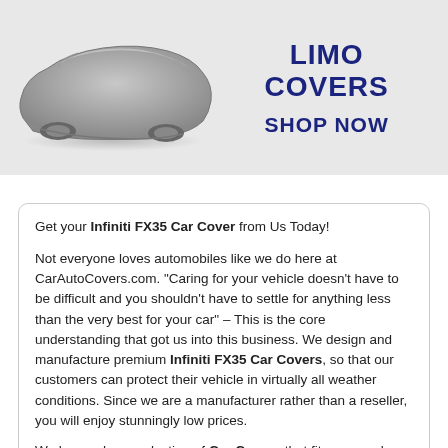[Figure (illustration): Gray car cover on a vehicle (limousine shape) on a light gray banner background, next to 'LIMO COVERS' and 'SHOP NOW' text in dark navy blue]
Get your Infiniti FX35 Car Cover from Us Today!
Not everyone loves automobiles like we do here at CarAutoCovers.com. "Caring for your vehicle doesn't have to be difficult and you shouldn't have to settle for anything less than the very best for your car" – This is the core understanding that got us into this business. We design and manufacture premium Infiniti FX35 Car Covers, so that our customers can protect their vehicle in virtually all weather conditions. Since we are a manufacturer rather than a reseller, you will enjoy stunningly low prices.
We have a huge selection of Car Covers that fit every make, model, and year of car. Car Covers are starting at only $84.99